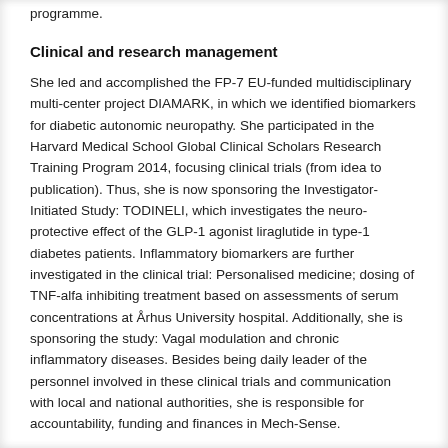programme.
Clinical and research management
She led and accomplished the FP-7 EU-funded multidisciplinary multi-center project DIAMARK, in which we identified biomarkers for diabetic autonomic neuropathy. She participated in the Harvard Medical School Global Clinical Scholars Research Training Program 2014, focusing clinical trials (from idea to publication). Thus, she is now sponsoring the Investigator-Initiated Study: TODINELI, which investigates the neuro-protective effect of the GLP-1 agonist liraglutide in type-1 diabetes patients. Inflammatory biomarkers are further investigated in the clinical trial: Personalised medicine; dosing of TNF-alfa inhibiting treatment based on assessments of serum concentrations at Århus University hospital. Additionally, she is sponsoring the study: Vagal modulation and chronic inflammatory diseases. Besides being daily leader of the personnel involved in these clinical trials and communication with local and national authorities, she is responsible for accountability, funding and finances in Mech-Sense.